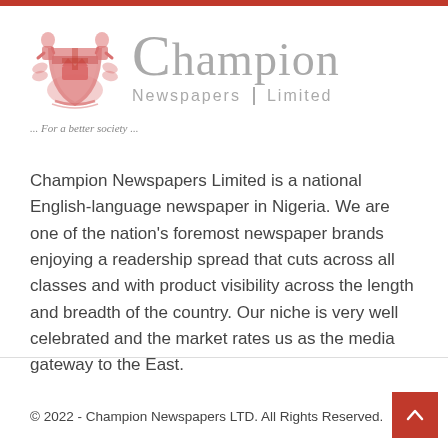[Figure (logo): Champion Newspapers Limited logo with red heraldic crest on left and grey text 'Champion Newspapers Limited' on right, with tagline '... For a better society ...']
Champion Newspapers Limited is a national English-language newspaper in Nigeria. We are one of the nation's foremost newspaper brands enjoying a readership spread that cuts across all classes and with product visibility across the length and breadth of the country. Our niche is very well celebrated and the market rates us as the media gateway to the East.
© 2022 - Champion Newspapers LTD. All Rights Reserved.